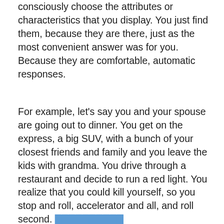consciously choose the attributes or characteristics that you display. You just find them, because they are there, just as the most convenient answer was for you. Because they are comfortable, automatic responses.
For example, let's say you and your spouse are going out to dinner. You get on the express, a big SUV, with a bunch of your closest friends and family and you leave the kids with grandma. You drive through a restaurant and decide to run a red light. You realize that you could kill yourself, so you stop and roll, accelerator and all, and roll second. [redacted] Now, you have just made a list of things you would DO if you were in a similar, similar situation. You could have killed the child you were driving or injured someone, so you had to stop or I would die. What would be next? It wouldn't be possible to be a red car, because someone else would be at the red, you would have to negotiate a place to stop. [redacted] Yet, that is your list. It is not just the worst. It has the truth behind it. You are either so tough you never allow